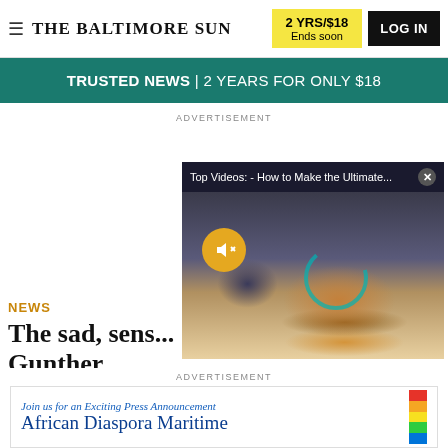THE BALTIMORE SUN | 2 YRS/$18 Ends soon | LOG IN
TRUSTED NEWS | 2 YEARS FOR ONLY $18
ADVERTISEMENT
[Figure (screenshot): Video popup: Top Videos: - How to Make the Ultimate... with X close button, showing food/burger image with mute button and loading spinner]
NEWS
The sad, sens... Gunther
By DAN RODRICKS
Baltimore Sun
ADVERTISEMENT
[Figure (screenshot): Advertisement banner: Join us for an Exciting Press Announcement African Diaspora Maritime]